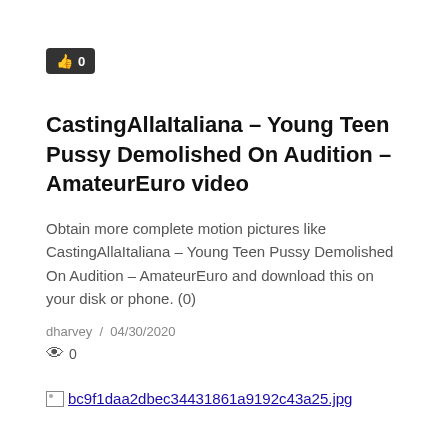[Figure (other): Like button with thumbs-up icon and count 0, dark background]
CastingAllaItaliana – Young Teen Pussy Demolished On Audition – AmateurEuro video
Obtain more complete motion pictures like CastingAllaItaliana – Young Teen Pussy Demolished On Audition – AmateurEuro and download this on your disk or phone. (0)
dharvey  /  04/30/2020
👁 0
[Figure (other): Broken image placeholder followed by filename link: bc9f1daa2dbec34431861a9192c43a25.jpg]